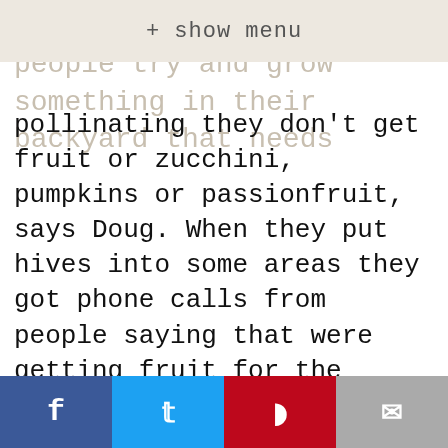+ show menu
even know it. When people try and grow something in their backyard that needs pollinating they don't get fruit or zucchini, pumpkins or passionfruit, says Doug. When they put hives into some areas they got phone calls from people saying that were getting fruit for the first time in years. Without bees Doug says, "We'll be in big trouble...but everyone's terrified of them. They need our help. We need to plant things that flower and not just grass in the backyard," he says.
So tell me Dear Reader, which type of bee do you think has it the hardest? Worker, drone or queen bee? And how much honey do you consume? What type of honey do you like? Have you ever been stung by a bee?
f  [twitter]  [pinterest]  [mail]